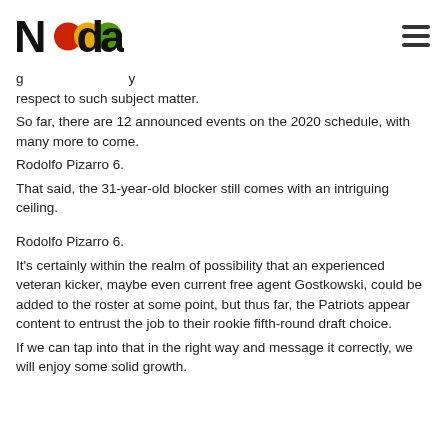Nada logo and navigation
g ... y respect to such subject matter.
So far, there are 12 announced events on the 2020 schedule, with many more to come.
Rodolfo Pizarro 6.
That said, the 31-year-old blocker still comes with an intriguing ceiling.
Rodolfo Pizarro 6.
It's certainly within the realm of possibility that an experienced veteran kicker, maybe even current free agent Gostkowski, could be added to the roster at some point, but thus far, the Patriots appear content to entrust the job to their rookie fifth-round draft choice.
If we can tap into that in the right way and message it correctly, we will enjoy some solid growth.